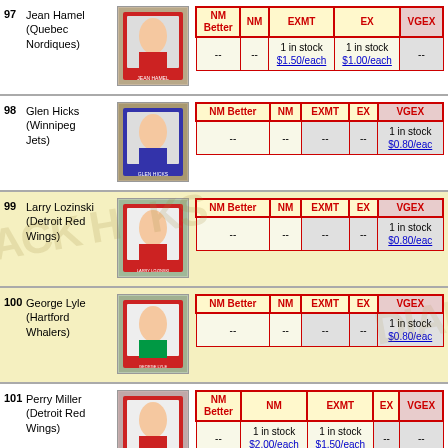| # | Player | Card | NM Better | NM | EXMT | EX | VGEX |
| --- | --- | --- | --- | --- | --- | --- | --- |
| 97 | Jean Hamel (Quebec Nordiques) | [img] | -- | -- | 1 in stock $1.50/each | 1 in stock $1.00/each | -- |
| 98 | Glen Hicks (Winnipeg Jets) | [img] | -- | -- | -- | -- | 1 in stock $0.80/each |
| 99 | Larry Lozinski (Detroit Red Wings) | [img] | -- | -- | -- | -- | 1 in stock $0.80/each |
| 100 | George Lyle (Hartford Whalers) | [img] | -- | -- | -- | -- | 1 in stock $0.80/each |
| 101 | Perry Miller (Detroit Red Wings) | [img] | -- | 1 in stock $2.00/each | 1 in stock $1.50/each | -- | -- |